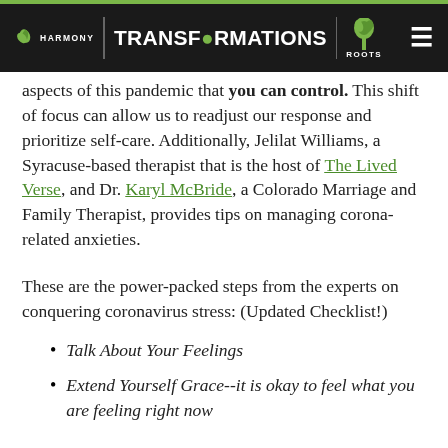HARMONY | TRANSFORMATIONS | ROOTS
aspects of this pandemic that you can control. This shift of focus can allow us to readjust our response and prioritize self-care. Additionally, Jelilat Williams, a Syracuse-based therapist that is the host of The Lived Verse, and Dr. Karyl McBride, a Colorado Marriage and Family Therapist, provides tips on managing corona-related anxieties.
These are the power-packed steps from the experts on conquering coronavirus stress: (Updated Checklist!)
Talk About Your Feelings
Extend Yourself Grace--it is okay to feel what you are feeling right now